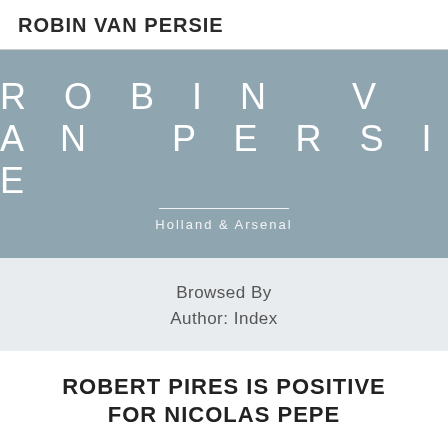ROBIN VAN PERSIE
[Figure (other): Hero banner with large spaced text 'ROBIN VAN PERSIE', a horizontal divider, and subtitle 'Holland & Arsenal' on a muted blue-grey background]
Browsed By
Author: Index
ROBERT PIRES IS POSITIVE FOR NICOLAS PEPE